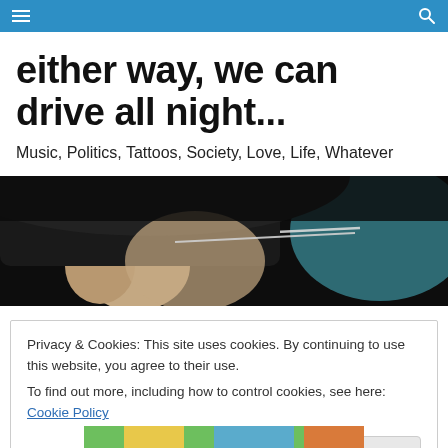either way, we can drive all night...
Music, Politics, Tattoos, Society, Love, Life, Whatever
[Figure (photo): Close-up of back of a person's head and ear, with glasses, against a dark and teal blurred background — seen from inside a car]
Privacy & Cookies: This site uses cookies. By continuing to use this website, you agree to their use.
To find out more, including how to control cookies, see here: Cookie Policy
[Figure (photo): Partial view of a colorful image at the bottom of the page, mostly cropped off]